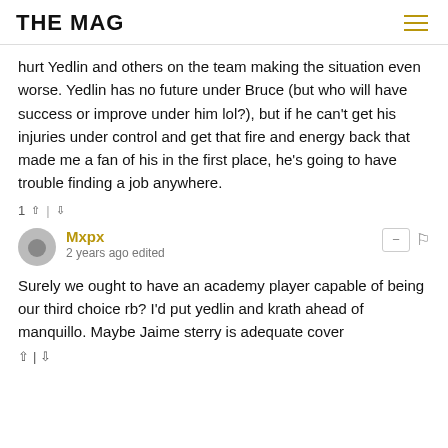THE MAG
hurt Yedlin and others on the team making the situation even worse. Yedlin has no future under Bruce (but who will have success or improve under him lol?), but if he can't get his injuries under control and get that fire and energy back that made me a fan of his in the first place, he's going to have trouble finding a job anywhere.
1 ↑ | ↓
Mxpx
2 years ago edited
Surely we ought to have an academy player capable of being our third choice rb? I'd put yedlin and krath ahead of manquillo. Maybe Jaime sterry is adequate cover
↑ | ↓